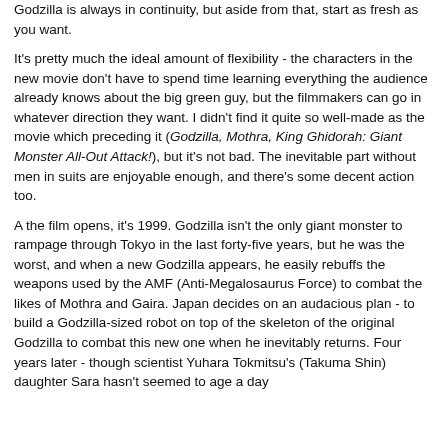Godzilla is always in continuity, but aside from that, start as fresh as you want.
It's pretty much the ideal amount of flexibility - the characters in the new movie don't have to spend time learning everything the audience already knows about the big green guy, but the filmmakers can go in whatever direction they want. I didn't find it quite so well-made as the movie which preceding it (Godzilla, Mothra, King Ghidorah: Giant Monster All-Out Attack!), but it's not bad. The inevitable part without men in suits are enjoyable enough, and there's some decent action too.
A the film opens, it's 1999. Godzilla isn't the only giant monster to rampage through Tokyo in the last forty-five years, but he was the worst, and when a new Godzilla appears, he easily rebuffs the weapons used by the AMF (Anti-Megalosaurus Force) to combat the likes of Mothra and Gaira. Japan decides on an audacious plan - to build a Godzilla-sized robot on top of the skeleton of the original Godzilla to combat this new one when he inevitably returns. Four years later - though scientist Yuhara Tokmitsu's (Takuma Shin) daughter Sara hasn't seemed to age a day